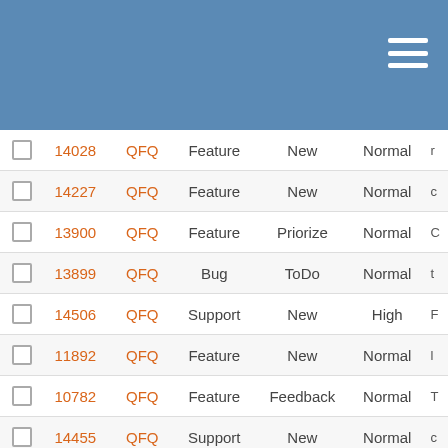[Figure (screenshot): Blue header bar with hamburger menu icon (three white horizontal lines) in top-right corner]
|  | # | Project | Type | Status | Priority |  |
| --- | --- | --- | --- | --- | --- | --- |
| ☐ | 14028 | QFQ | Feature | New | Normal | … |
| ☐ | 14227 | QFQ | Feature | New | Normal | … |
| ☐ | 13900 | QFQ | Feature | Priorize | Normal | … |
| ☐ | 13899 | QFQ | Bug | ToDo | Normal | … |
| ☐ | 14506 | QFQ | Support | New | High | … |
| ☐ | 11892 | QFQ | Feature | New | Normal | … |
| ☐ | 10782 | QFQ | Feature | Feedback | Normal | … |
| ☐ | 14455 | QFQ | Support | New | Normal | … |
| ☐ | 14463 | QFQ | Support | New | Normal | … |
| ☐ | 14552 | QFQ | Support | New | High | … |